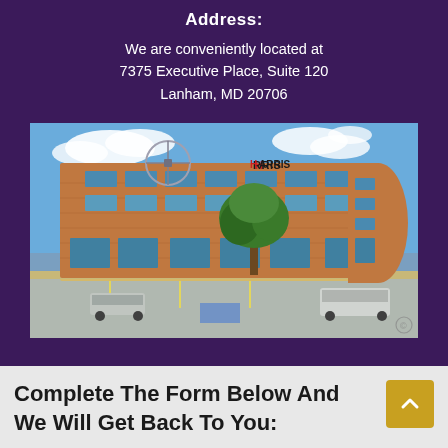Address:
We are conveniently located at 7375 Executive Place, Suite 120 Lanham, MD 20706
[Figure (photo): Exterior photo of a three-story brick office building with the HARRIS logo on its facade, blue sky with clouds, green trees, and a parking lot in the foreground.]
Complete The Form Below And We Will Get Back To You: